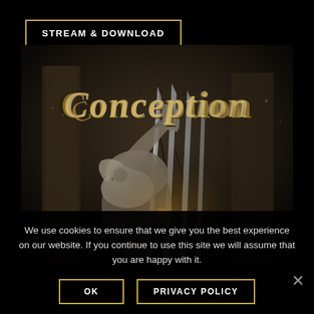STREAM & DOWNLOAD
[Figure (illustration): Album cover art for Conception band. Dark atmospheric background with a stone figure/angel holding a bird (dove) with large metallic claws piercing through cracked stone wall. Band name 'Conception' displayed in ornate gothic/medieval textured lettering at the top of the image.]
We use cookies to ensure that we give you the best experience on our website. If you continue to use this site we will assume that you are happy with it.
OK
PRIVACY POLICY